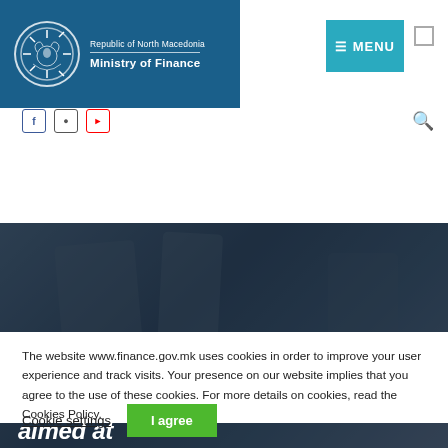Republic of North Macedonia
Ministry of Finance
[Figure (screenshot): Website header with Republic of North Macedonia Ministry of Finance logo and teal MENU button]
Supplementary Budget, more funds allocated for the health sector and the capital expenditures, funds aimed at
The website www.finance.gov.mk uses cookies in order to improve your user experience and track visits. Your presence on our website implies that you agree to the use of these cookies. For more details on cookies, read the Cookies Policy.
Cookie settings | I agree